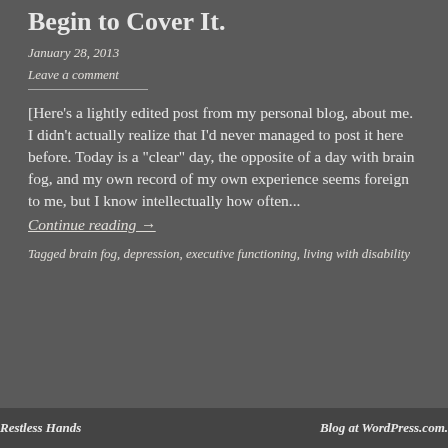Begin to Cover It.
January 28, 2013
Leave a comment
[Here's a lightly edited post from my personal blog, about me. I didn't actually realize that I'd never managed to post it here before. Today is a "clear" day, the opposite of a day with brain fog, and my own record of my own experience seems foreign to me, but I know intellectually how often...
Continue reading →
Tagged brain fog, depression, executive functioning, living with disability
Restless Hands   Blog at WordPress.com.